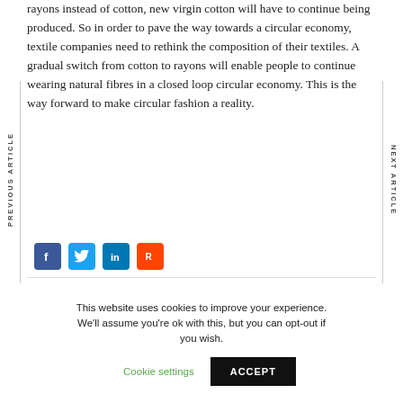rayons instead of cotton, new virgin cotton will have to continue being produced. So in order to pave the way towards a circular economy, textile companies need to rethink the composition of their textiles. A gradual switch from cotton to rayons will enable people to continue wearing natural fibres in a closed loop circular economy. This is the way forward to make circular fashion a reality.
[Figure (other): Social media share buttons: Facebook (blue), Twitter (light blue), LinkedIn (blue), Reddit (orange-red)]
This website uses cookies to improve your experience. We'll assume you're ok with this, but you can opt-out if you wish. Cookie settings ACCEPT